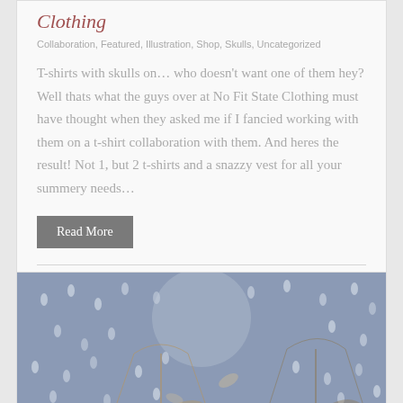Clothing
Collaboration, Featured, Illustration, Shop, Skulls, Uncategorized
T-shirts with skulls on… who doesn't want one of them hey? Well thats what the guys over at No Fit State Clothing must have thought when they asked me if I fancied working with them on a t-shirt collaboration with them. And heres the result! Not 1, but 2 t-shirts and a snazzy vest for all your summery needs…
Read More
May 14, 2013
2
[Figure (illustration): A decorative illustration with a grey-blue background featuring raindrops and umbrellas in muted tones]